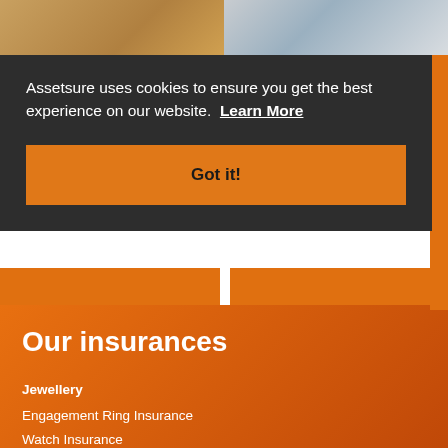[Figure (photo): Two photos side by side at top of page: left shows people, right shows a residential house exterior]
Assetsure uses cookies to ensure you get the best experience on our website. Learn More
Got it!
Our insurances
Jewellery
Engagement Ring Insurance
Watch Insurance